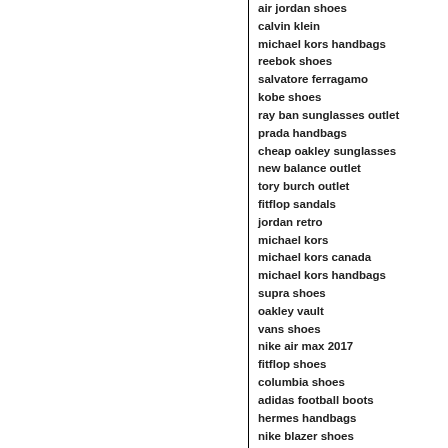air jordan shoes
calvin klein
michael kors handbags
reebok shoes
salvatore ferragamo
kobe shoes
ray ban sunglasses outlet
prada handbags
cheap oakley sunglasses
new balance outlet
tory burch outlet
fitflop sandals
jordan retro
michael kors
michael kors canada
michael kors handbags
supra shoes
oakley vault
vans shoes
nike air max 2017
fitflop shoes
columbia shoes
adidas football boots
hermes handbags
nike blazer shoes
kate spade handbags
adidas yeezy
coach outlet
michael kors handbags
prada handbags
burberry outlet
under armour
burberry sale
air jordan 14
adidas shoes
ray ban canada
adidas nmd r1
ray ban solbriller
coach purses
christian louboutin outlet online
adidas shoes